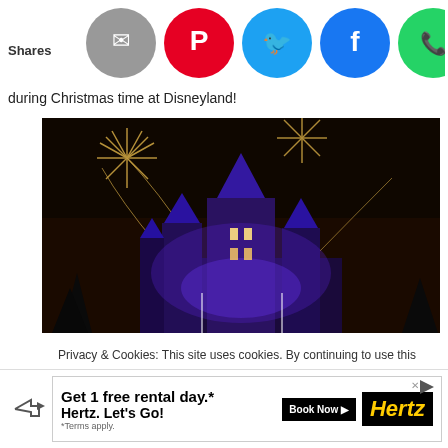Shares
[Figure (screenshot): Social media share buttons: email (grey), Pinterest (red), Twitter (cyan), Facebook (blue), WhatsApp (green), SMS (grey/green), Crown (dark blue)]
during Christmas time at Disneyland!
[Figure (photo): Disneyland castle lit in purple/blue with fireworks exploding in the night sky above it]
Privacy & Cookies: This site uses cookies. By continuing to use this website, you agree to their use.
To find out more, including how to control cookies, see here: Cookie Policy
[Figure (infographic): Advertisement banner: Get 1 free rental day.* Hertz. Let's Go! Book Now. *Terms apply. Hertz logo.]